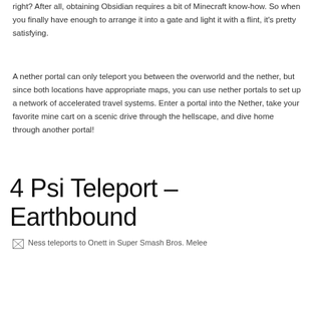right? After all, obtaining Obsidian requires a bit of Minecraft know-how. So when you finally have enough to arrange it into a gate and light it with a flint, it's pretty satisfying.
A nether portal can only teleport you between the overworld and the nether, but since both locations have appropriate maps, you can use nether portals to set up a network of accelerated travel systems. Enter a portal into the Nether, take your favorite mine cart on a scenic drive through the hellscape, and dive home through another portal!
4 Psi Teleport – Earthbound
[Figure (photo): Ness teleports to Onett in Super Smash Bros. Melee — image placeholder shown]